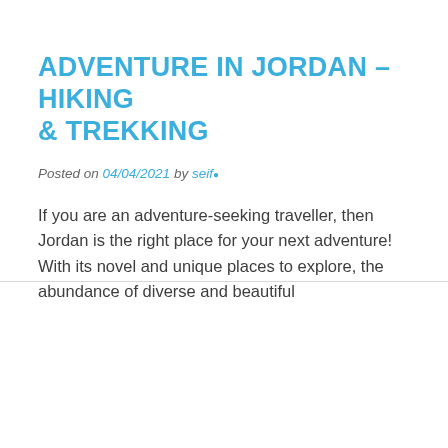ADVENTURE IN JORDAN – HIKING & TREKKING
Posted on 04/04/2021 by seif•
If you are an adventure-seeking traveller, then Jordan is the right place for your next adventure! With its novel and unique places to explore, the abundance of diverse and beautiful